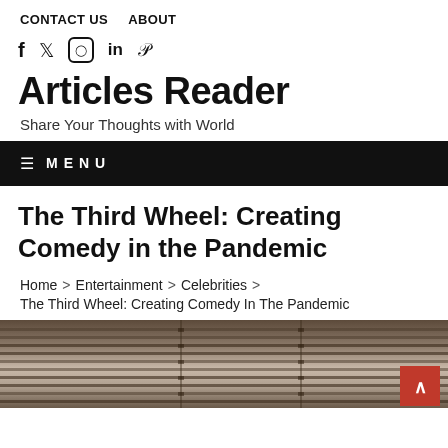CONTACT US   ABOUT
f  🐦  📷  in  𝗣
Articles Reader
Share Your Thoughts with World
≡  MENU
The Third Wheel: Creating Comedy in the Pandemic
Home > Entertainment > Celebrities > The Third Wheel: Creating Comedy In The Pandemic
[Figure (photo): Partially visible interior photo showing venetian blinds on a window]